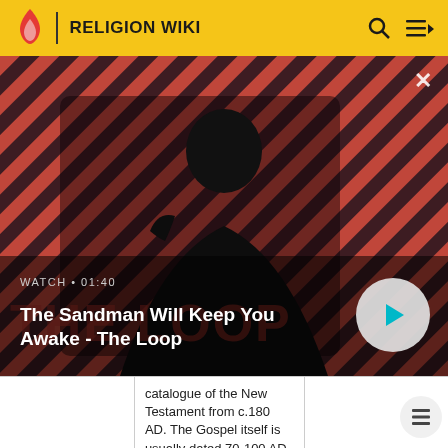RELIGION WIKI
[Figure (screenshot): Video thumbnail for 'The Sandman Will Keep You Awake - The Loop' with a dark figure wearing a black cape and a raven on shoulder, against a red and black diagonal stripes background. WATCH • 01:40 label and play button visible.]
WATCH • 01:40
The Sandman Will Keep You Awake - The Loop
|  | catalogue of the New Testament from c.180 AD. The Gospel itself is usually dated 70-100 AD. |  |